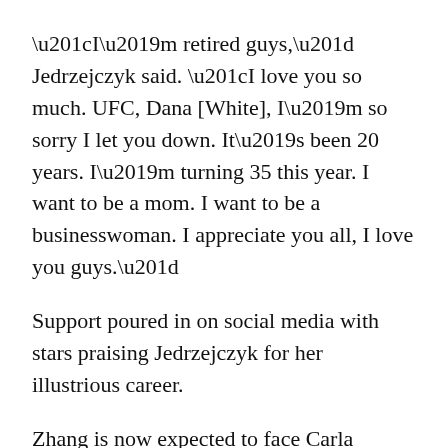“I’m retired guys,” Jedrzejczyk said. “I love you so much. UFC, Dana [White], I’m so sorry I let you down. It’s been 20 years. I’m turning 35 this year. I want to be a mom. I want to be a businesswoman. I appreciate you all, I love you guys.”
Support poured in on social media with stars praising Jedrzejczyk for her illustrious career.
Zhang is now expected to face Carla Esparza next for the women’s strawweight championship.
“Carla Esparza, I heard there’s an event in